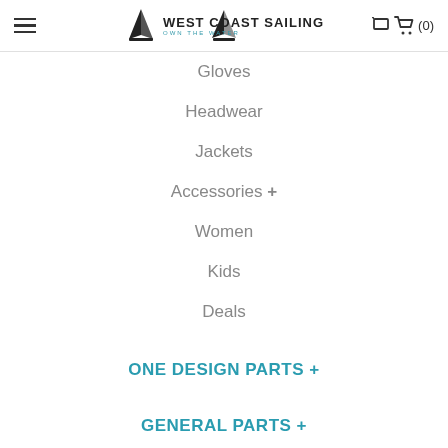West Coast Sailing — Own The Water
Gloves
Headwear
Jackets
Accessories +
Women
Kids
Deals
ONE DESIGN PARTS +
GENERAL PARTS +
LINE +